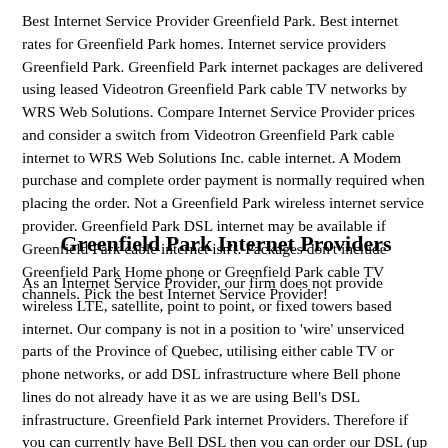Best Internet Service Provider Greenfield Park. Best internet rates for Greenfield Park homes. Internet service providers Greenfield Park. Greenfield Park internet packages are delivered using leased Videotron Greenfield Park cable TV networks by WRS Web Solutions. Compare Internet Service Provider prices and consider a switch from Videotron Greenfield Park cable internet to WRS Web Solutions Inc. cable internet. A Modem purchase and complete order payment is normally required when placing the order. Not a Greenfield Park wireless internet service provider. Greenfield Park DSL internet may be available if Greenfield Park cable internet isn't. Packages don't include Greenfield Park Home phone or Greenfield Park cable TV channels. Pick the best Internet Service Provider!
Greenfield Park Internet Providers
As an Internet Service Provider, our firm does not provide wireless LTE, satellite, point to point, or fixed towers based internet. Our company is not in a position to 'wire' unserviced parts of the Province of Quebec, utilising either cable TV or phone networks, or add DSL infrastructure where Bell phone lines do not already have it as we are using Bell's DSL infrastructure. Greenfield Park internet Providers. Therefore if you can currently have Bell DSL then you can order our DSL (up to the speeds we